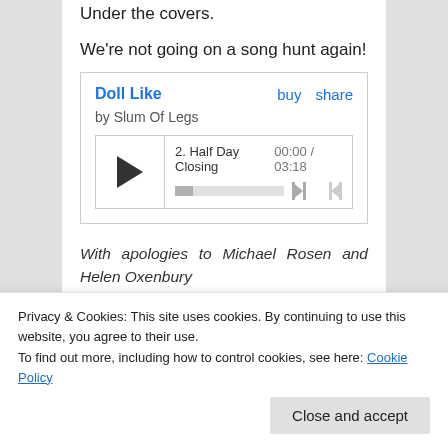Under the covers.
We're not going on a song hunt again!
[Figure (screenshot): Embedded music player widget for 'Doll Like' by Slum Of Legs, showing track 2. Half Day Closing, 00:00 / 03:18, with play button and progress bar]
With apologies to Michael Rosen and Helen Oxenbury
Share this post:
[Figure (other): Row of social media share icon circles: Facebook, Twitter, Tumblr, WhatsApp, Reddit, LinkedIn, Pinterest]
Privacy & Cookies: This site uses cookies. By continuing to use this website, you agree to their use.
To find out more, including how to control cookies, see here: Cookie Policy
Close and accept